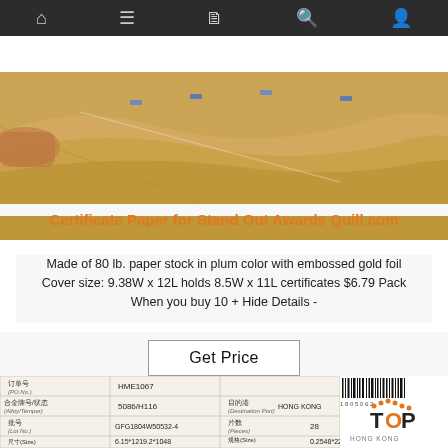[Figure (screenshot): Dark navigation bar with home, menu, document, search, and profile icons]
[Figure (photo): Photo of large sheets of tan/gold kraft paper being handled on a table, with blue clips visible]
Certificate Paper for Stand Out Awards Quill.com
Made of 80 lb. paper stock in plum color with embossed gold foil Cover size: 9.38W x 12L holds 8.5W x 11L certificates $6.79 Pack When you buy 10 + Hide Details -
[Figure (screenshot): Get Price button with border]
[Figure (photo): Bottom portion showing a product specification table in Chinese and English with order number HME1067, alloy/temper 5086/H116, lot number GFG1804W50532-4, and a TOP Hong Kong logo with barcode]